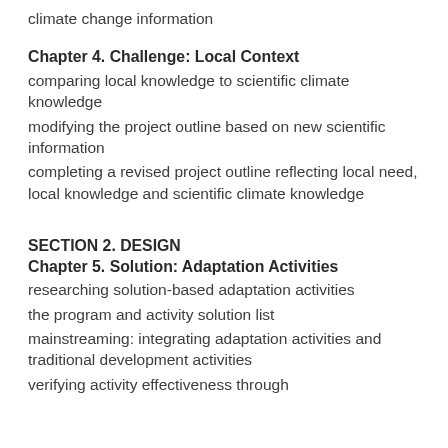climate change information
Chapter 4. Challenge: Local Context
comparing local knowledge to scientific climate knowledge
modifying the project outline based on new scientific information
completing a revised project outline reflecting local need, local knowledge and scientific climate knowledge
SECTION 2. DESIGN
Chapter 5. Solution: Adaptation Activities
researching solution-based adaptation activities
the program and activity solution list
mainstreaming: integrating adaptation activities and traditional development activities
verifying activity effectiveness through